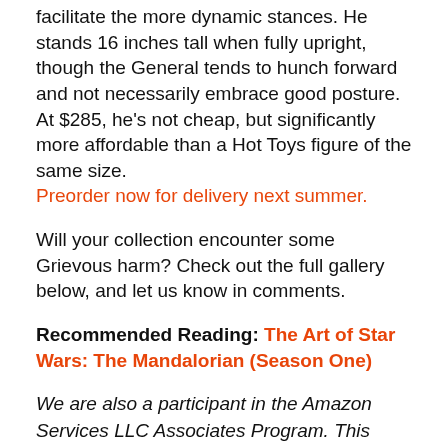facilitate the more dynamic stances. He stands 16 inches tall when fully upright, though the General tends to hunch forward and not necessarily embrace good posture. At $285, he's not cheap, but significantly more affordable than a Hot Toys figure of the same size. Preorder now for delivery next summer.
Will your collection encounter some Grievous harm? Check out the full gallery below, and let us know in comments.
Recommended Reading: The Art of Star Wars: The Mandalorian (Season One)
We are also a participant in the Amazon Services LLC Associates Program. This affiliate advertising program also provides a means to earn fees by linking to Amazon.com and affiliated sites.
View original article here Source